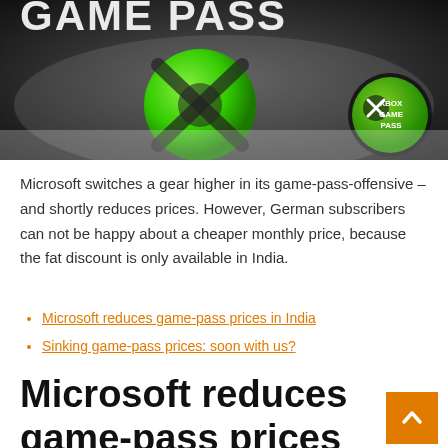[Figure (photo): Xbox Game Pass promotional banner with large white stylized text partially visible at top, a green Xbox logo sphere in center, and Xbox Game Pass circular badge in bottom right corner, on a dark gradient background.]
Microsoft switches a gear higher in its game-pass-offensive – and shortly reduces prices. However, German subscribers can not be happy about a cheaper monthly price, because the fat discount is only available in India.
Microsoft reduces game-pass prices in India
Sinking game-pass prices: soon with us?
Microsoft reduces game-pass prices in